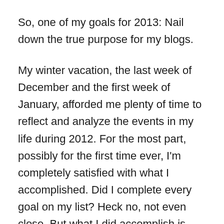So, one of my goals for 2013: Nail down the true purpose for my blogs.
My winter vacation, the last week of December and the first week of January, afforded me plenty of time to reflect and analyze the events in my life during 2012. For the most part, possibly for the first time ever, I'm completely satisfied with what I accomplished. Did I complete every goal on my list? Heck no, not even close. But what I did accomplish is worthy of a pat on the back. Plus, I realized all too often when we look back at the previous year, we tend to focus on what we did NOT do instead of all that we DID. It's self-defeating and more than a little depressing to